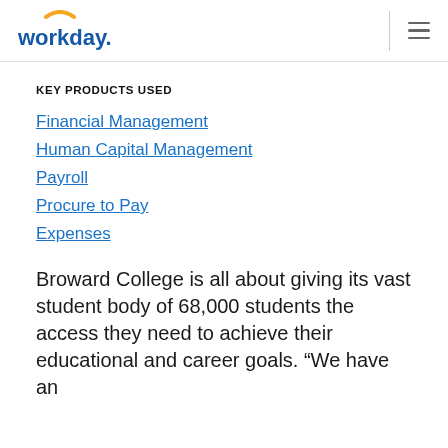workday.
KEY PRODUCTS USED
Financial Management
Human Capital Management
Payroll
Procure to Pay
Expenses
Broward College is all about giving its vast student body of 68,000 students the access they need to achieve their educational and career goals. “We have an